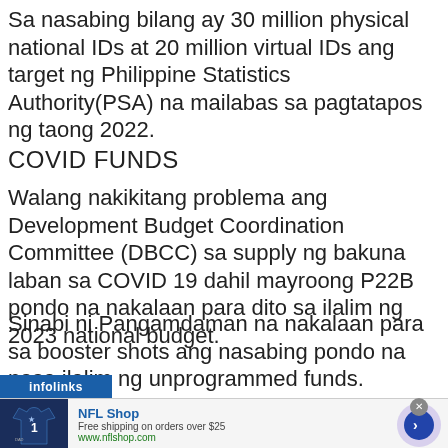Sa nasabing bilang ay 30 million physical national IDs at 20 million virtual IDs ang target ng Philippine Statistics Authority(PSA) na mailabas sa pagtatapos ng taong 2022.
COVID FUNDS
Walang nakikitang problema ang Development Budget Coordination Committee (DBCC) sa supply ng bakuna laban sa COVID 19 dahil mayroong P22B pondo na nakalaan para dito sa ilalim ng 2023 national budget.
Sinabi ni Pangamdaman na nakalaan para sa booster shots ang nasabing pondo na nasa ilalim ng unprogrammed funds.
[Figure (screenshot): Advertisement banner for NFL Shop showing a Dallas Cowboys jersey, text 'NFL Shop', 'Free shipping on orders over $25', 'www.nflshop.com', with an infolinks label and a circular arrow button]